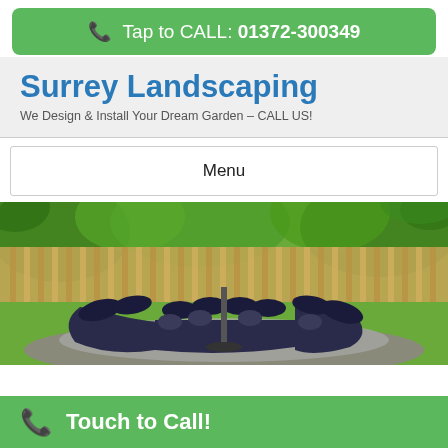Tap to CALL: 01372-300349
Surrey Landscaping
We Design & Install Your Dream Garden – CALL US!
Menu
[Figure (photo): Outdoor garden seating area with dark blue cushioned sofa arranged in a circular layout, surrounded by bamboo fencing, lush green plants, and a central fire pit or water feature. Natural garden landscaping setting.]
Touch to Call!